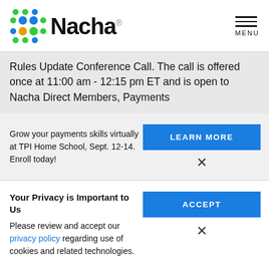[Figure (logo): Nacha logo with colorful dot grid and text]
Rules Update Conference Call. The call is offered once at 11:00 am - 12:15 pm ET and is open to Nacha Direct Members, Payments
Grow your payments skills virtually at TPI Home School, Sept. 12-14. Enroll today!
LEARN MORE
×
Your Privacy is Important to Us
Please review and accept our privacy policy regarding use of cookies and related technologies.
ACCEPT
×